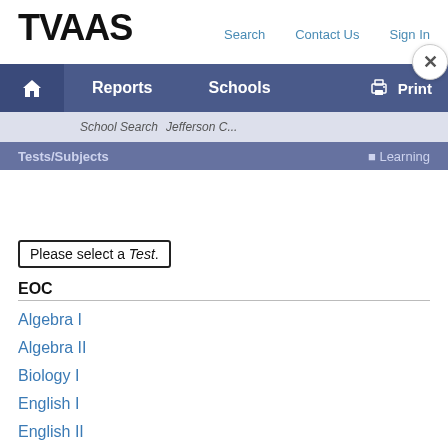TVAAS
Search  Contact Us  Sign In
Home  Reports  Schools  Print
School Search  Jefferson C...
Tests/Subjects  Learning
Please select a Test.
EOC
Algebra I
Algebra II
Biology I
English I
English II
Geometry